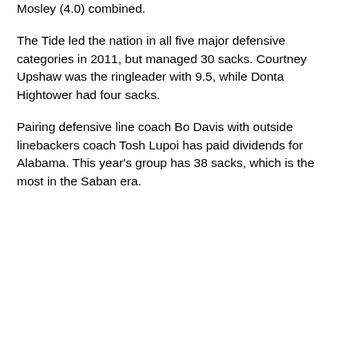Mosley (4.0) combined.
The Tide led the nation in all five major defensive categories in 2011, but managed 30 sacks. Courtney Upshaw was the ringleader with 9.5, while Donta Hightower had four sacks.
Pairing defensive line coach Bo Davis with outside linebackers coach Tosh Lupoi has paid dividends for Alabama. This year’s group has 38 sacks, which is the most in the Saban era.